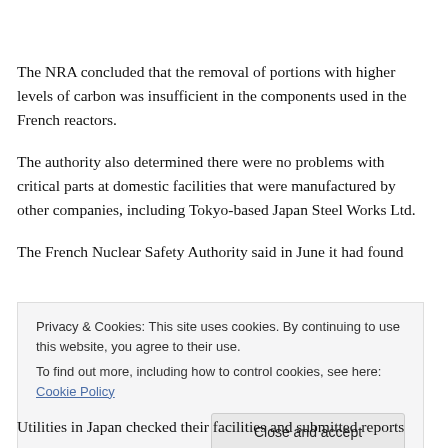The NRA concluded that the removal of portions with higher levels of carbon was insufficient in the components used in the French reactors.
The authority also determined there were no problems with critical parts at domestic facilities that were manufactured by other companies, including Tokyo-based Japan Steel Works Ltd.
The French Nuclear Safety Authority said in June it had found
Privacy & Cookies: This site uses cookies. By continuing to use this website, you agree to their use.
To find out more, including how to control cookies, see here: Cookie Policy
[Close and accept]
Utilities in Japan checked their facilities and submitted reports